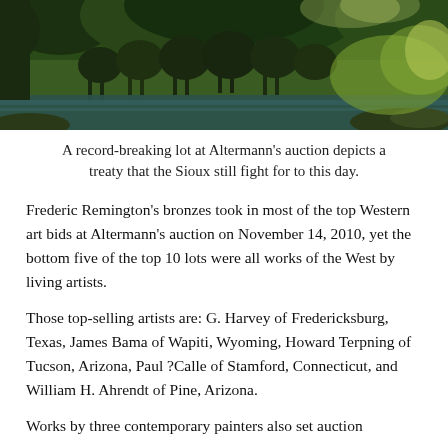[Figure (photo): A painting depicting horses and riders crossing a river in a lush, green landscape — a Western art scene]
A record-breaking lot at Altermann's auction depicts a treaty that the Sioux still fight for to this day.
Frederic Remington's bronzes took in most of the top Western art bids at Altermann's auction on November 14, 2010, yet the bottom five of the top 10 lots were all works of the West by living artists.
Those top-selling artists are: G. Harvey of Fredericksburg, Texas, James Bama of Wapiti, Wyoming, Howard Terpning of Tucson, Arizona, Paul ?Calle of Stamford, Connecticut, and William H. Ahrendt of Pine, Arizona.
Works by three contemporary painters also set auction